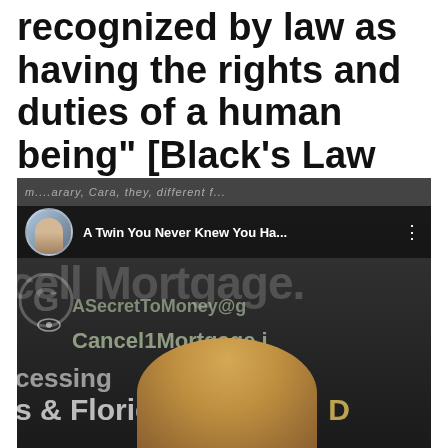recognized by law as having the rights and duties of a human being" [Black's Law Dictionary, 7th Edition]
[Figure (screenshot): Screenshot of a video overlay showing a YouTube-style video card with avatar, title 'A Twin You Never Knew You Ha...', and background showing text: 'cell Mortgage.', 'ASecretToMoney@g', 'Cancel1Mortgage.i', 'cessing', 's & Florida Republi...' with a partial 'D' visible, a G logo, an eye icon, and a blond person's head at the bottom.]